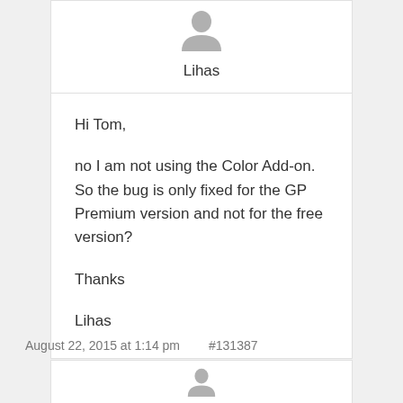[Figure (illustration): User avatar placeholder icon (grey silhouette of a person)]
Lihas
Hi Tom,

no I am not using the Color Add-on. So the bug is only fixed for the GP Premium version and not for the free version?

Thanks

Lihas
August 22, 2015 at 1:14 pm   #131387
[Figure (illustration): User avatar placeholder icon (grey silhouette) — partially visible at bottom]